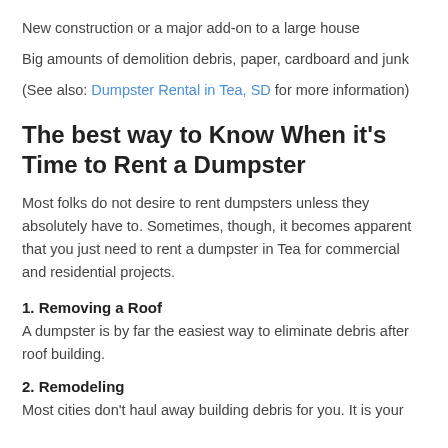New construction or a major add-on to a large house
Big amounts of demolition debris, paper, cardboard and junk
(See also: Dumpster Rental in Tea, SD for more information)
The best way to Know When it's Time to Rent a Dumpster
Most folks do not desire to rent dumpsters unless they absolutely have to. Sometimes, though, it becomes apparent that you just need to rent a dumpster in Tea for commercial and residential projects.
1. Removing a Roof
A dumpster is by far the easiest way to eliminate debris after roof building.
2. Remodeling
Most cities don't haul away building debris for you. It is your